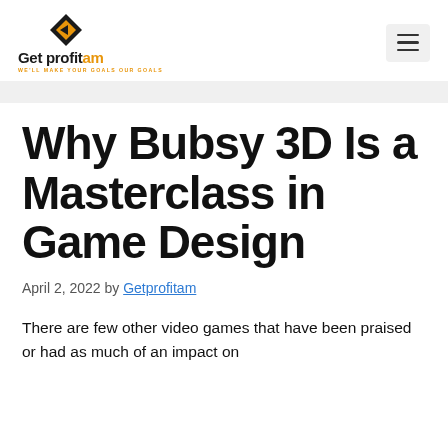Get profitam — WE'LL MAKE YOUR GOALS OUR GOALS
Why Bubsy 3D Is a Masterclass in Game Design
April 2, 2022 by Getprofitam
There are few other video games that have been praised or had as much of an impact on